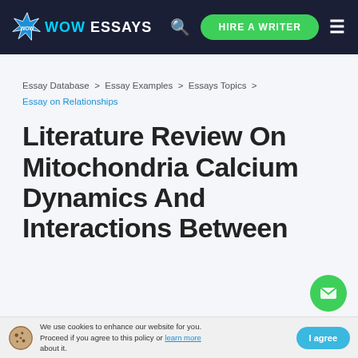WOW ESSAYS | HIRE A WRITER
Essay Database > Essay Examples > Essays Topics > Essay on Relationships
Literature Review On Mitochondria Calcium Dynamics And Interactions Between
We use cookies to enhance our website for you. Proceed if you agree to this policy or learn more about it. | I agree